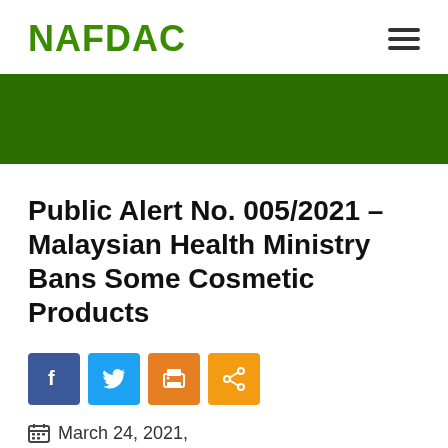NAFDAC
[Figure (other): Dark green banner/hero image strip]
Public Alert No. 005/2021 – Malaysian Health Ministry Bans Some Cosmetic Products
[Figure (infographic): Social share buttons: Facebook (blue), Twitter (light blue), Print (orange), Share (orange)]
March 24, 2021,